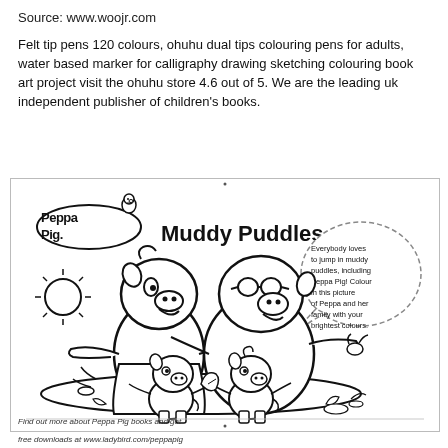Source: www.woojr.com
Felt tip pens 120 colours, ohuhu dual tips colouring pens for adults, water based marker for calligraphy drawing sketching colouring book art project visit the ohuhu store 4.6 out of 5. We are the leading uk independent publisher of children's books.
[Figure (illustration): Peppa Pig 'Muddy Puddles' colouring page. Black and white line art showing the Peppa Pig logo, title 'Muddy Puddles', and cartoon characters: Mummy Pig and Daddy Pig standing in a muddy puddle with Peppa Pig and George Pig. A sun is visible on the left. A speech bubble on the right reads: 'Everybody loves to jump in muddy puddles, including Peppa Pig! Colour in this picture of Peppa and her family with your brightest colours.' Registration/crop marks appear at each corner.]
Find out more about Peppa Pig books and get free downloads at www.ladybird.com/peppapig